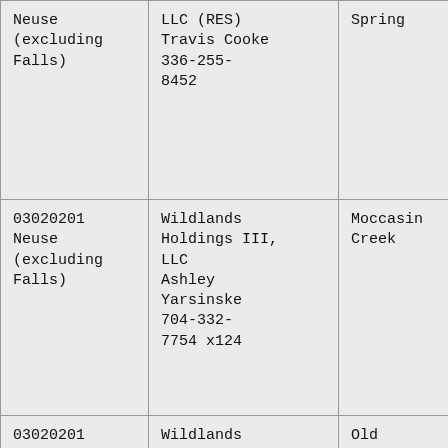| Neuse (excluding Falls) | LLC (RES) Travis Cooke 336-255-8452 | Spring |
| 03020201 Neuse (excluding Falls) | Wildlands Holdings III, LLC Ashley Yarsinske 704-332-7754 x124 | Moccasin Creek |
| 03020201 Neuse (excluding | Wildlands Holdings II, LLC | Old Savannah |